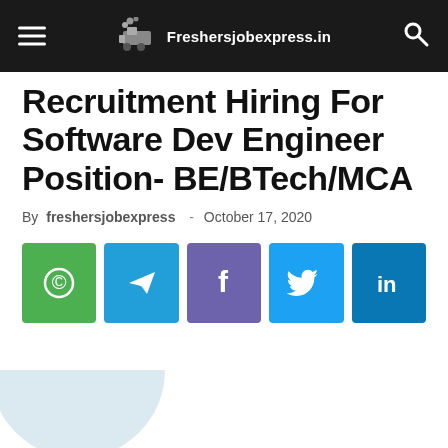Freshersjobexpress.in
Recruitment Hiring For Software Dev Engineer Position- BE/BTech/MCA
By freshersjobexpress - October 17, 2020
[Figure (infographic): Social share buttons: WhatsApp (green), Telegram (blue), Facebook (purple), Twitter (light blue), LinkedIn (dark blue)]
[Figure (photo): Partial circular image at bottom left, light blue/grey color]